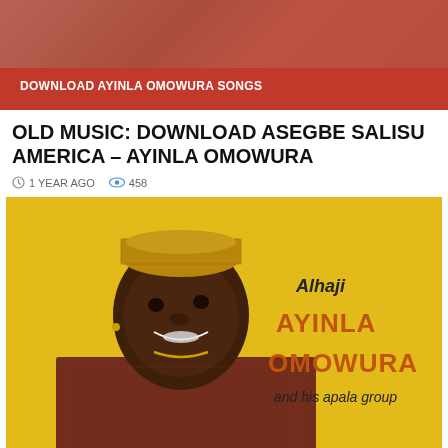[Figure (photo): Red banner background with 'DOWNLOAD AYINLA OMOWURA SONGS' label]
OLD MUSIC: DOWNLOAD ASEGBE SALISU AMERICA – AYINLA OMOWURA
1 YEAR AGO  458
[Figure (photo): Album cover of Alhaji Ayinla Omowura and his apala group. Yellow background with a portrait of a man in traditional attire looking upward, with stylized text 'Alhaji AYINLA OMOWURA and his apala group']